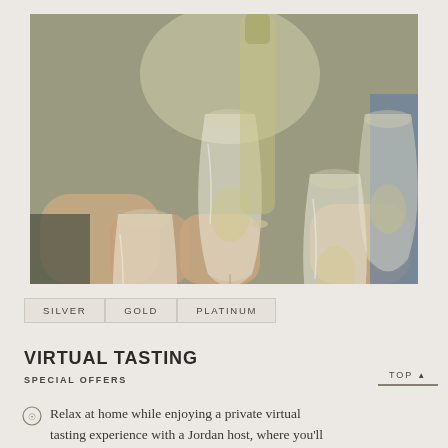[Figure (photo): People clinking glasses of white wine in a toast, close-up of multiple hands holding wine glasses outdoors]
SILVER   GOLD   PLATINUM
VIRTUAL TASTING
SPECIAL OFFERS
Relax at home while enjoying a private virtual tasting experience with a Jordan host, where you'll taste through